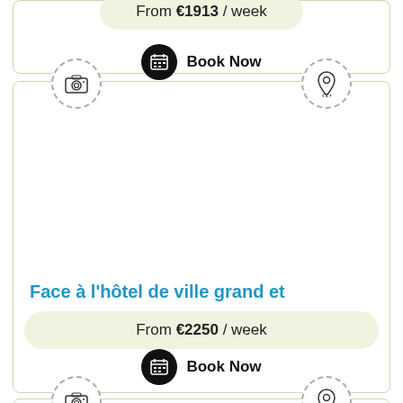From €1913 / week
Book Now
[Figure (illustration): Camera icon in dashed circle (left) and location pin icon in dashed circle (right) for a property listing card]
Face à l'hôtel de ville grand et
From €2250 / week
Book Now
[Figure (illustration): Camera icon in dashed circle and location pin icon in dashed circle for a second listing card (partially visible at bottom)]